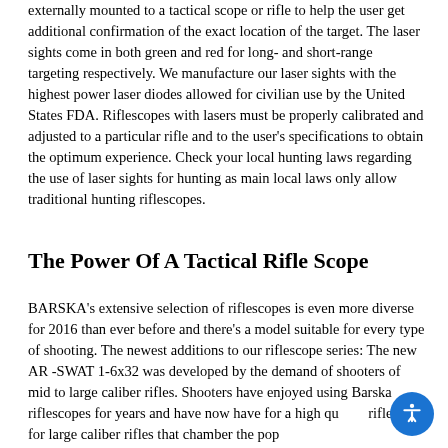externally mounted to a tactical scope or rifle to help the user get additional confirmation of the exact location of the target. The laser sights come in both green and red for long- and short-range targeting respectively. We manufacture our laser sights with the highest power laser diodes allowed for civilian use by the United States FDA. Riflescopes with lasers must be properly calibrated and adjusted to a particular rifle and to the user's specifications to obtain the optimum experience. Check your local hunting laws regarding the use of laser sights for hunting as main local laws only allow traditional hunting riflescopes.
The Power Of A Tactical Rifle Scope
BARSKA's extensive selection of riflescopes is even more diverse for 2016 than ever before and there's a model suitable for every type of shooting. The newest additions to our riflescope series: The new AR -SWAT 1-6x32 was developed by the demand of shooters of mid to large caliber rifles. Shooters have enjoyed using Barska riflescopes for years and have now have for a high qu… riflescope for large caliber rifles that chamber the pop…